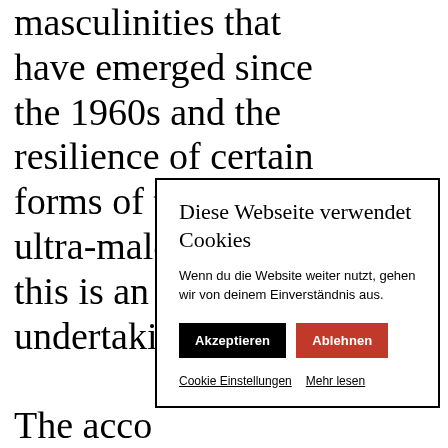masculinities that have emerged since the 1960s and the resilience of certain forms of traditional ultra-male power this is an ambitious undertaking. The acco... compreh... publicati... committ... disruptin... with fou... Taliban ... softly ha... by arran... fl...
Diese Webseite verwendet Cookies

Wenn du die Website weiter nutzt, gehen wir von deinem Einverständnis aus.

Akzeptieren   Ablehnen

Cookie Einstellungen   Mehr lesen